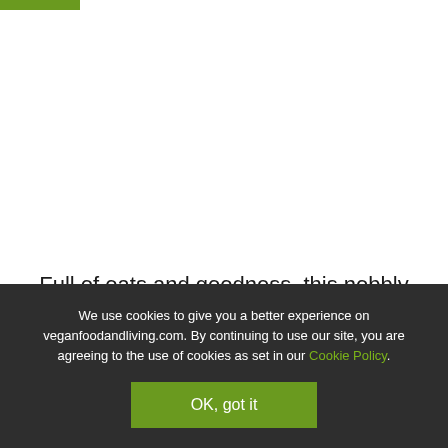[Figure (other): Green bar at top left corner of page, partial logo or navigation element]
Full of oats and goodness, this nobbly biscuit is perfect for dunking!
We use cookies to give you a better experience on veganfoodandliving.com. By continuing to use our site, you are agreeing to the use of cookies as set in our Cookie Policy.
OK, got it